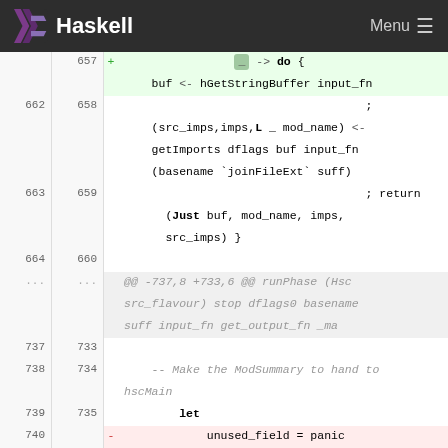Haskell   Menu
[Figure (screenshot): Haskell code diff view showing additions and deletions in a Haskell source file. Lines 657-741 visible with green added lines and red deleted lines, monospace font on light background.]